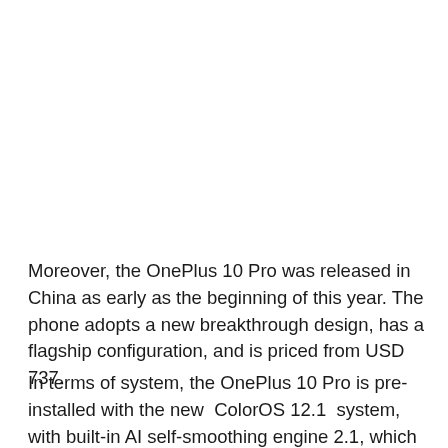Moreover, the OnePlus 10 Pro was released in China as early as the beginning of this year. The phone adopts a new breakthrough design, has a flagship configuration, and is priced from USD 737.
In terms of system, the OnePlus 10 Pro is pre-installed with the new  ColorOS 12.1  system, with built-in AI self-smoothing engine 2.1, which has obtained the 36-month